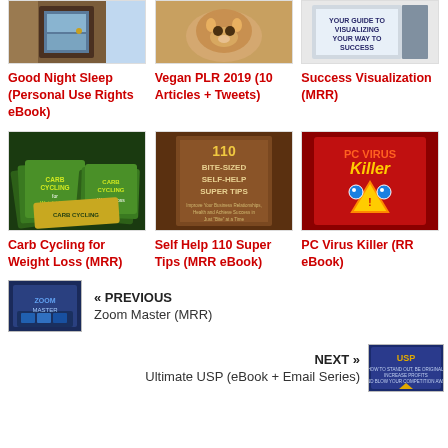[Figure (photo): Good Night Sleep eBook cover - door/room image]
[Figure (photo): Vegan PLR 2019 - cat image]
[Figure (photo): Success Visualization book cover]
Good Night Sleep (Personal Use Rights eBook)
Vegan PLR 2019 (10 Articles + Tweets)
Success Visualization (MRR)
[Figure (photo): Carb Cycling for Weight Loss product bundle]
[Figure (photo): Self Help 110 Super Tips book cover]
[Figure (photo): PC Virus Killer book cover]
Carb Cycling for Weight Loss (MRR)
Self Help 110 Super Tips (MRR eBook)
PC Virus Killer (RR eBook)
[Figure (photo): Zoom Master thumbnail]
« PREVIOUS
Zoom Master (MRR)
[Figure (photo): Ultimate USP thumbnail]
NEXT »
Ultimate USP (eBook + Email Series)